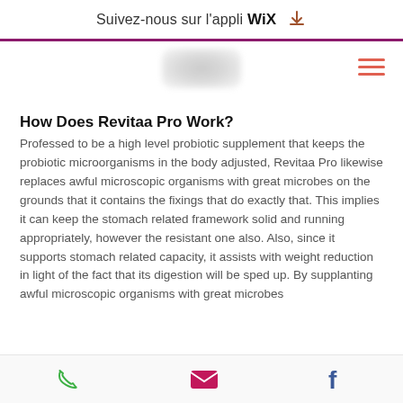Suivez-nous sur l'appli WiX
[Figure (logo): Blurred website logo centered in navigation bar with hamburger menu icon (three horizontal lines) on the right]
How Does Revitaa Pro Work?
Professed to be a high level probiotic supplement that keeps the probiotic microorganisms in the body adjusted, Revitaa Pro likewise replaces awful microscopic organisms with great microbes on the grounds that it contains the fixings that do exactly that. This implies it can keep the stomach related framework solid and running appropriately, however the resistant one also. Also, since it supports stomach related capacity, it assists with weight reduction in light of the fact that its digestion will be sped up. By supplanting awful microscopic organisms with great microbes
[Figure (infographic): Bottom action bar with phone icon (green), mail icon (pink/magenta envelope), and Facebook icon (dark blue f)]